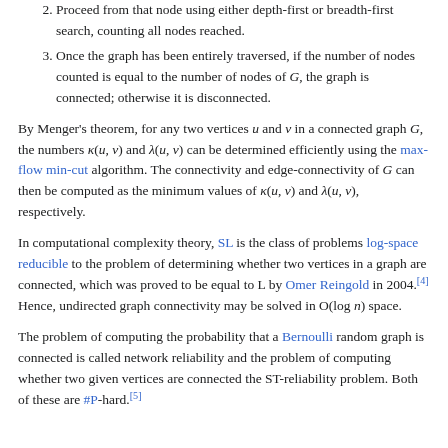2. Proceed from that node using either depth-first or breadth-first search, counting all nodes reached.
3. Once the graph has been entirely traversed, if the number of nodes counted is equal to the number of nodes of G, the graph is connected; otherwise it is disconnected.
By Menger's theorem, for any two vertices u and v in a connected graph G, the numbers κ(u, v) and λ(u, v) can be determined efficiently using the max-flow min-cut algorithm. The connectivity and edge-connectivity of G can then be computed as the minimum values of κ(u, v) and λ(u, v), respectively.
In computational complexity theory, SL is the class of problems log-space reducible to the problem of determining whether two vertices in a graph are connected, which was proved to be equal to L by Omer Reingold in 2004.[4] Hence, undirected graph connectivity may be solved in O(log n) space.
The problem of computing the probability that a Bernoulli random graph is connected is called network reliability and the problem of computing whether two given vertices are connected the ST-reliability problem. Both of these are #P-hard.[5]